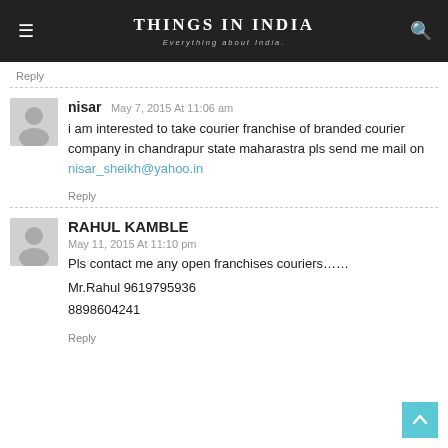THINGS IN INDIA — Everything about India.
Reply
nisar May 7, 2015 At 11:06 am
i am interested to take courier franchise of branded courier company in chandrapur state maharastra pls send me mail on nisar_sheikh@yahoo.in
Reply
RAHUL KAMBLE
May 11, 2015 At 11:10 pm
Pls contact me any open franchises couriers……

Mr.Rahul 9619795936
8898604241
Reply